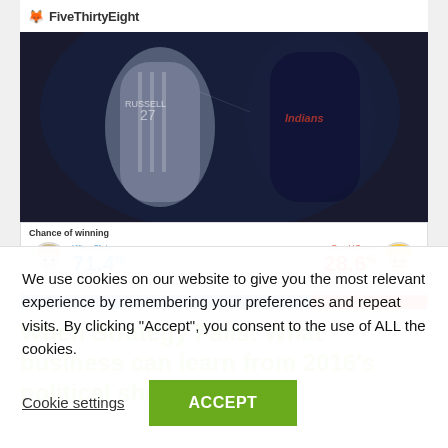[Figure (screenshot): Screenshot of FiveThirtyEight website showing a baseball game photo (Cubs vs Indians players) and an election prediction bar showing Hillary Clinton 71.4% vs Donald Trump 28.6% chance of winning]
When Strategy Fails: What business can learn from 2016's political shocks
We use cookies on our website to give you the most relevant experience by remembering your preferences and repeat visits. By clicking “Accept”, you consent to the use of ALL the cookies.
Cookie settings
ACCEPT